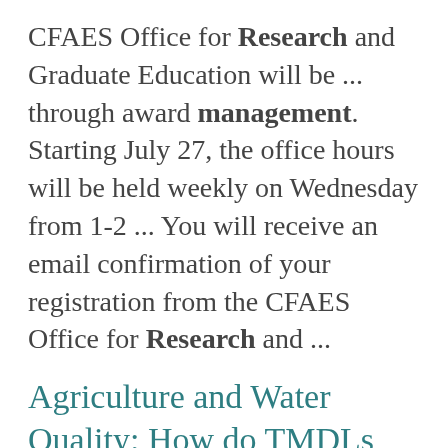CFAES Office for Research and Graduate Education will be ... through award management. Starting July 27, the office hours will be held weekly on Wednesday from 1-2 ... You will receive an email confirmation of your registration from the CFAES Office for Research and ...
Agriculture and Water Quality: How do TMDLs and Edge-of-Field Monitoring fit in?
https://cfaes.osu.edu/news/events/agriculture-and-water-quality-how-do-tmdls-and-edge-field-monitoring-fit-in
for improving it, will provide insight into